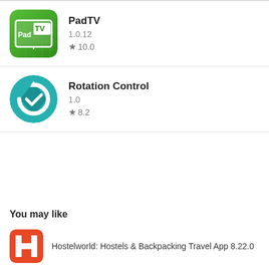[Figure (screenshot): PadTV app icon - green grid background with Pad TV text on tablet icon]
PadTV
1.0.12
★ 10.0
[Figure (screenshot): Rotation Control app icon - teal circular arrows logo]
Rotation Control
1.0
★ 8.2
You may like
[Figure (logo): Hostelworld orange H logo icon]
Hostelworld: Hostels & Backpacking Travel App 8.22.0